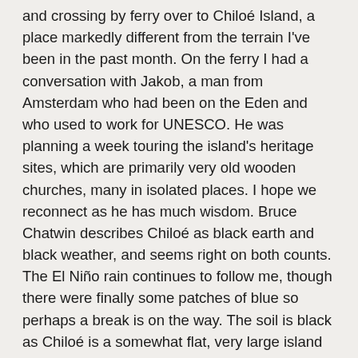and crossing by ferry over to Chiloé Island, a place markedly different from the terrain I've been in the past month. On the ferry I had a conversation with Jakob, a man from Amsterdam who had been on the Eden and who used to work for UNESCO. He was planning a week touring the island's heritage sites, which are primarily very old wooden churches, many in isolated places. I hope we reconnect as he has much wisdom. Bruce Chatwin describes Chiloé as black earth and black weather, and seems right on both counts. The El Niño rain continues to follow me, though there were finally some patches of blue so perhaps a break is on the way. The soil is black as Chiloé is a somewhat flat, very large island with a more moderate inland climate (it is warmer up here). The soil is deep, as are the forests including some rainforest. While the coastal dwellers earn their living from the sea, much of the interior is agriculture, including large dairy farms. Just outside Ancud is the large dairy complex Chilolac—more factory than barn. On arriving in Castro, I made immediately for the city square in hopes of finding a restaurant for lunch and WiFi to secure a hostel. After a bit of wandering that was done. Castro isn't geared for tourists, so the square is not crowded with places to eat